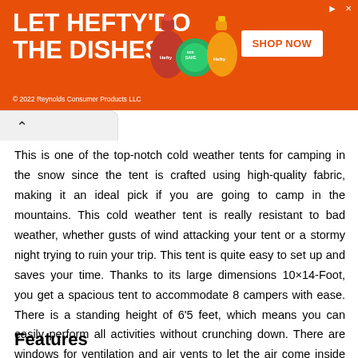[Figure (other): Hefty dish soap advertisement banner with orange background, product images, and SHOP NOW button. Text: LET HEFTY DO THE DISHES. © 2022 Reynolds Consumer Products LLC]
This is one of the top-notch cold weather tents for camping in the snow since the tent is crafted using high-quality fabric, making it an ideal pick if you are going to camp in the mountains. This cold weather tent is really resistant to bad weather, whether gusts of wind attacking your tent or a stormy night trying to ruin your trip. This tent is quite easy to set up and saves your time. Thanks to its large dimensions 10×14-Foot, you get a spacious tent to accommodate 8 campers with ease. There is a standing height of 6'5 feet, which means you can easily perform all activities without crunching down. There are windows for ventilation and air vents to let the air come inside the tent. Check out the features and specifications of this winter tent.
Features